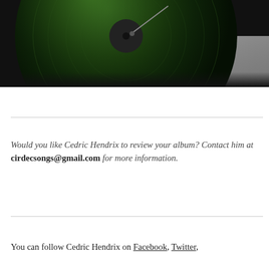[Figure (photo): Close-up photograph of a green vinyl record on a turntable, viewed from above at an angle, with a record needle visible, placed on a grey surface. The image is dark and atmospheric.]
Would you like Cedric Hendrix to review your album? Contact him at cirdecsongs@gmail.com for more information.
You can follow Cedric Hendrix on Facebook, Twitter,